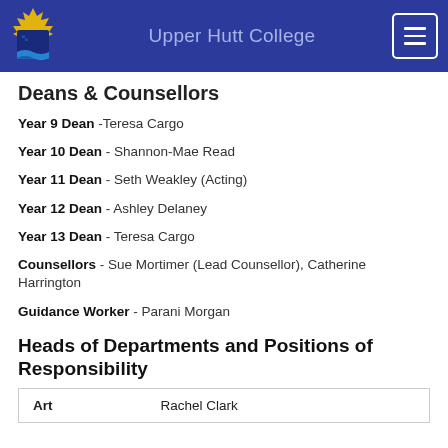Upper Hutt College
Deans & Counsellors
Year 9 Dean -Teresa Cargo
Year 10 Dean - Shannon-Mae Read
Year 11 Dean - Seth Weakley (Acting)
Year 12 Dean - Ashley Delaney
Year 13 Dean - Teresa Cargo
Counsellors - Sue Mortimer (Lead Counsellor), Catherine Harrington
Guidance Worker - Parani Morgan
Heads of Departments and Positions of Responsibility
|  |  |
| --- | --- |
| Art | Rachel Clark |